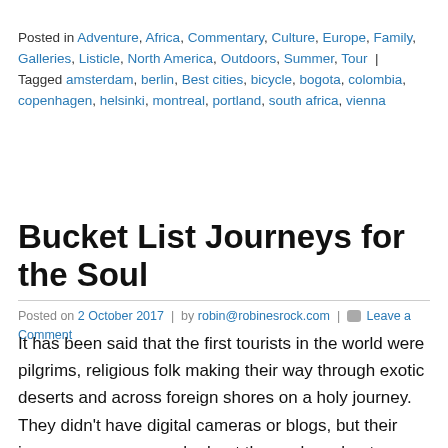Posted in Adventure, Africa, Commentary, Culture, Europe, Family, Galleries, Listicle, North America, Outdoors, Summer, Tour | Tagged amsterdam, berlin, Best cities, bicycle, bogota, colombia, copenhagen, helsinki, montreal, portland, south africa, vienna
Bucket List Journeys for the Soul
Posted on 2 October 2017 | by robin@robinesrock.com | Leave a Comment
It has been said that the first tourists in the world were pilgrims, religious folk making their way through exotic deserts and across foreign shores on a holy journey. They didn't have digital cameras or blogs, but their journeys were as much about the soul as about